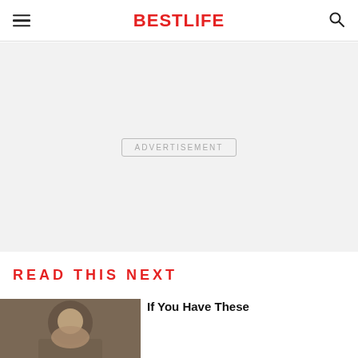BestLife
[Figure (other): Advertisement placeholder area with light gray background and centered 'ADVERTISEMENT' label in a rounded rectangle border]
READ THIS NEXT
[Figure (photo): Thumbnail photo of a person, partially visible at bottom of page]
If You Have These